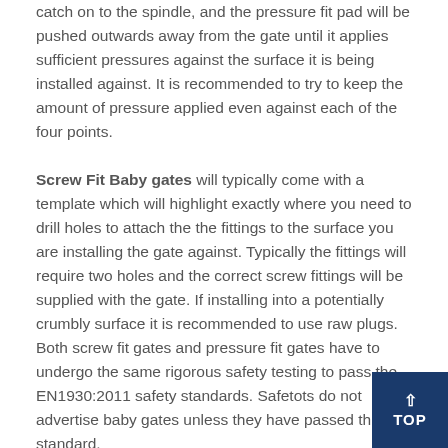catch on to the spindle, and the pressure fit pad will be pushed outwards away from the gate until it applies sufficient pressures against the surface it is being installed against. It is recommended to try to keep the amount of pressure applied even against each of the four points.
Screw Fit Baby gates will typically come with a template which will highlight exactly where you need to drill holes to attach the the fittings to the surface you are installing the gate against. Typically the fittings will require two holes and the correct screw fittings will be supplied with the gate. If installing into a potentially crumbly surface it is recommended to use raw plugs. Both screw fit gates and pressure fit gates have to undergo the same rigorous safety testing to pass the EN1930:2011 safety standards. Safetots do not advertise baby gates unless they have passed this standard.